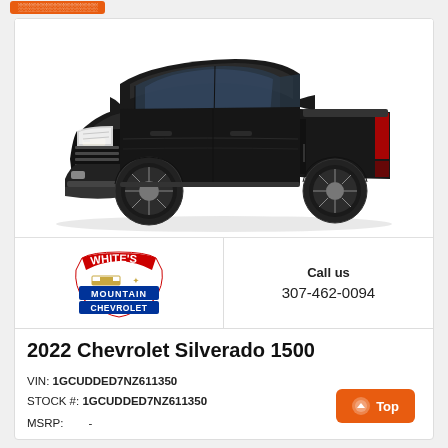[Figure (photo): 2022 Chevrolet Silverado 1500 black pickup truck, front 3/4 view on white background]
[Figure (logo): White's Mountain Chevrolet dealer logo — red and blue shield/badge shape with 'WHITE'S' in red arch lettering, 'MOUNTAIN' in white on blue, 'CHEVROLET' in white on blue]
Call us
307-462-0094
2022 Chevrolet Silverado 1500
VIN: 1GCUDDED7NZ611350
STOCK #: 1GCUDDED7NZ611350
MSRP: